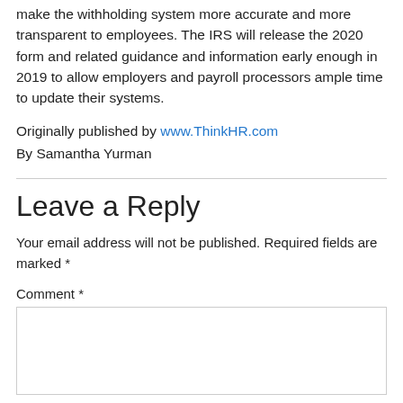make the withholding system more accurate and more transparent to employees. The IRS will release the 2020 form and related guidance and information early enough in 2019 to allow employers and payroll processors ample time to update their systems.
Originally published by www.ThinkHR.com
By Samantha Yurman
Leave a Reply
Your email address will not be published. Required fields are marked *
Comment *